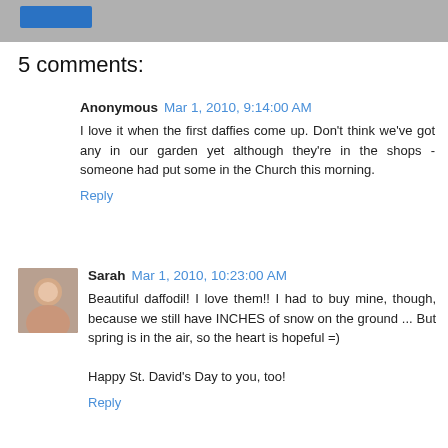[Figure (screenshot): Top navigation bar with a blue button on left, gray background]
5 comments:
Anonymous Mar 1, 2010, 9:14:00 AM
I love it when the first daffies come up. Don't think we've got any in our garden yet although they're in the shops - someone had put some in the Church this morning.
Reply
Sarah Mar 1, 2010, 10:23:00 AM
Beautiful daffodil! I love them!! I had to buy mine, though, because we still have INCHES of snow on the ground ... But spring is in the air, so the heart is hopeful =)

Happy St. David's Day to you, too!
Reply